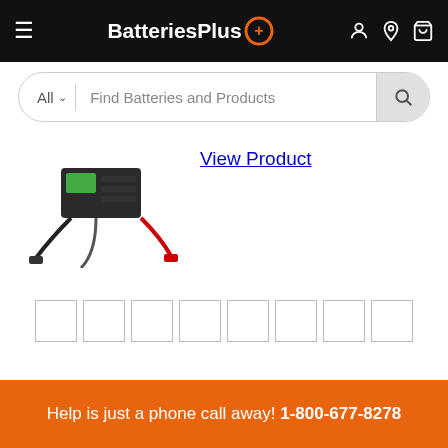BatteriesPlus
All  Find Batteries and Products
[Figure (photo): Battery charger product photo with cables and clamps]
View Product
Pagination boxes (8 empty page number boxes)
Help is just a phone call away! 1-800-677-8278